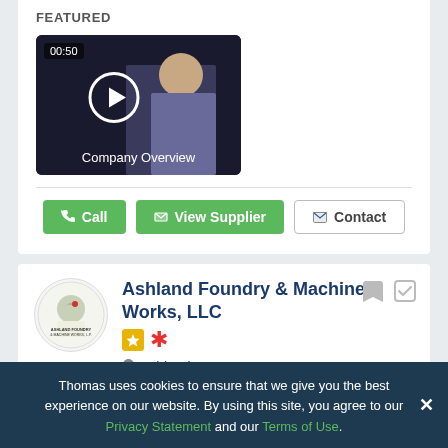FEATURED
[Figure (screenshot): Video thumbnail showing a woman, with a play button overlay, duration '00:50', and title 'Company Overview']
[Figure (screenshot): Action buttons: 'Call', 'View Supplier' (green), and 'Contact' (outlined)]
[Figure (logo): Ashland Foundry & Machine Works, LLC company logo — circular logo with bird and text]
Ashland Foundry & Machine Works, LLC
Ashland, PA
Thomas uses cookies to ensure that we give you the best experience on our website. By using this site, you agree to our Privacy Statement and our Terms of Use.